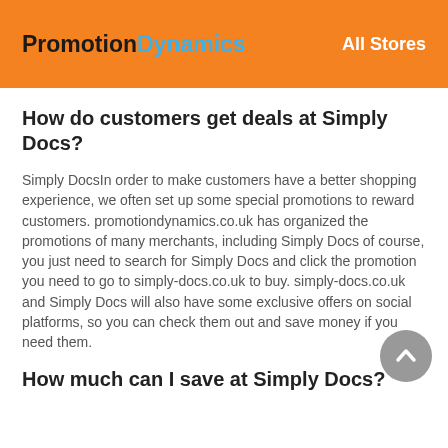PromotionDynamics   All Stores
How do customers get deals at Simply Docs?
Simply DocsIn order to make customers have a better shopping experience, we often set up some special promotions to reward customers. promotiondynamics.co.uk has organized the promotions of many merchants, including Simply Docs of course, you just need to search for Simply Docs and click the promotion you need to go to simply-docs.co.uk to buy. simply-docs.co.uk and Simply Docs will also have some exclusive offers on social platforms, so you can check them out and save money if you need them.
How much can I save at Simply Docs?